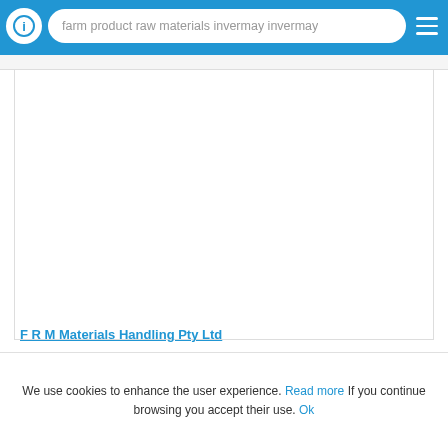farm product raw materials invermay invermay
[Figure (screenshot): Large white empty content card area representing a map or listing placeholder]
F R M Materials Handling Pty Ltd
We use cookies to enhance the user experience. Read more If you continue browsing you accept their use. Ok